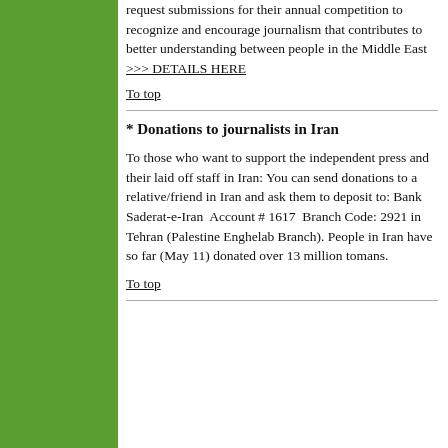request submissions for their annual competition to recognize and encourage journalism that contributes to better understanding between people in the Middle East >>> DETAILS HERE
To top
* Donations to journalists in Iran
To those who want to support the independent press and their laid off staff in Iran: You can send donations to a relative/friend in Iran and ask them to deposit to: Bank Saderat-e-Iran  Account # 1617  Branch Code: 2921 in Tehran (Palestine Enghelab Branch). People in Iran have so far (May 11) donated over 13 million tomans.
To top